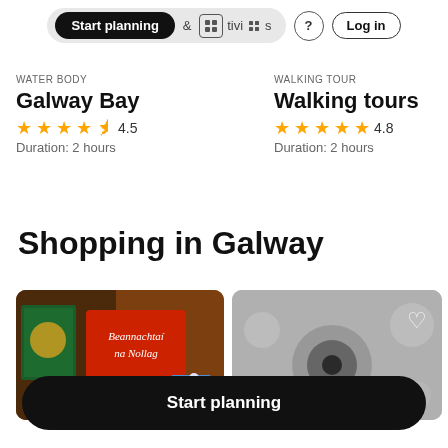Start planning | & Activities | ? | Log in
WATER BODY
Galway Bay
4.5 stars · 4.5
Duration: 2 hours
WALKING TOUR
Walking tours
4.8 stars · 4.8
Duration: 2 hours
Shopping in Galway
[Figure (photo): Photo of Christmas shop items including a red sign reading 'Beannachtaí na Nollag']
[Figure (photo): Blurred photo of shop items with a white heart icon overlay]
Start planning